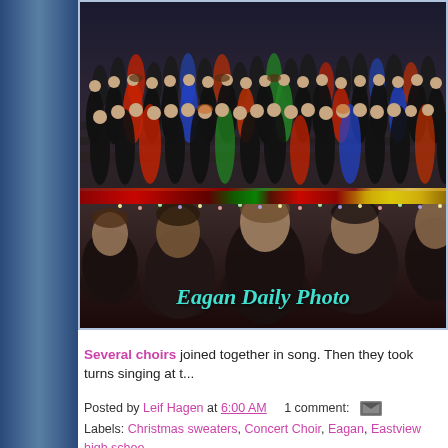[Figure (photo): A large choir group performing on a stage decorated with red and yellow poinsettias. Choir members are dressed in black with some in colorful Christmas sweaters. Audience members are visible in the foreground. A watermark reads 'Eagan Daily Photo' in teal italic text at the bottom.]
Several choirs joined together in song. Then they took turns singing at t...
Posted by Leif Hagen at 6:00 AM   1 comment:
Labels: Christmas sweaters, Concert Choir, Eagan, Eastview high schoo...